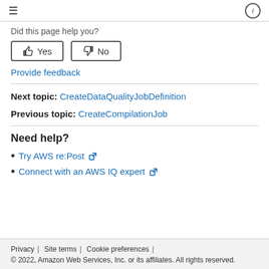≡  ⓘ
Did this page help you?
Yes | No (buttons)
Provide feedback
Next topic: CreateDataQualityJobDefinition
Previous topic: CreateCompilationJob
Need help?
Try AWS re:Post ↗
Connect with an AWS IQ expert ↗
Privacy | Site terms | Cookie preferences |
© 2022, Amazon Web Services, Inc. or its affiliates. All rights reserved.